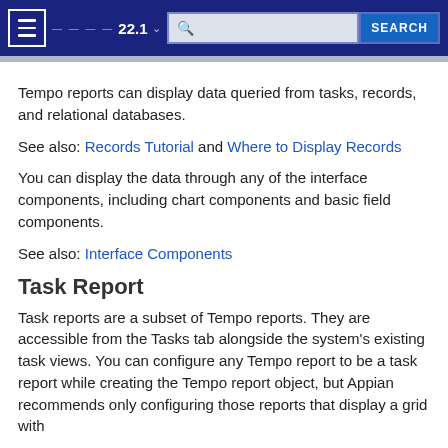22.1 SEARCH
Tempo reports can display data queried from tasks, records, and relational databases.
See also: Records Tutorial and Where to Display Records
You can display the data through any of the interface components, including chart components and basic field components.
See also: Interface Components
Task Report
Task reports are a subset of Tempo reports. They are accessible from the Tasks tab alongside the system's existing task views. You can configure any Tempo report to be a task report while creating the Tempo report object, but Appian recommends only configuring those reports that display a grid with